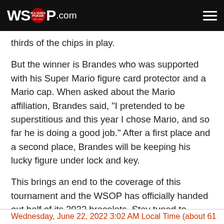WSOP.COM
thirds of the chips in play.
But the winner is Brandes who was supported with his Super Mario figure card protector and a Mario cap. When asked about the Mario affiliation, Brandes said, "I pretended to be superstitious and this year I chose Mario, and so far he is doing a good job." After a first place and a second place, Brandes will be keeping his lucky figure under lock and key.
This brings an end to the coverage of this tournament and the WSOP has officially handed out half of its 2022 bracelets. Stay tuned to PokerNews to find out who will be next to don a WSOP gold bracelet.
Wednesday, June 22, 2022 3:02 AM Local Time (about 61